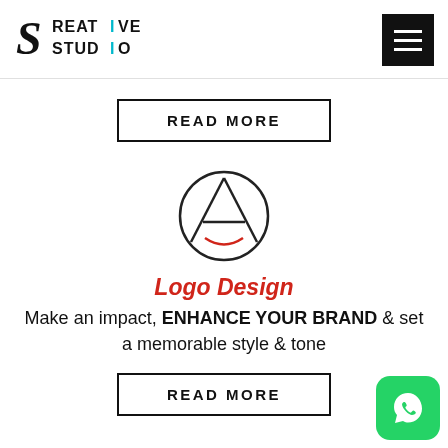[Figure (logo): Creative Studio logo with stylized S and text CREATIVE STUDIO, with a cyan vertical bar in the I]
[Figure (other): Hamburger menu icon (three white horizontal lines on black square background)]
READ MORE
[Figure (logo): Abstract logo: circle with triangle/A shape inside and red curved smile arc at bottom]
Logo Design
Make an impact, ENHANCE YOUR BRAND & set a memorable style & tone
READ MORE
[Figure (logo): WhatsApp icon: green rounded square with white phone/chat bubble icon]